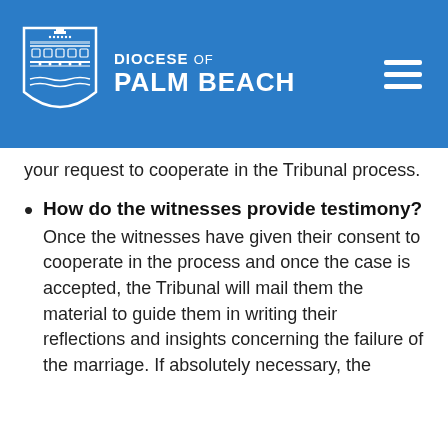[Figure (logo): Diocese of Palm Beach logo with shield/crest and text 'DIOCESE OF PALM BEACH' on blue header background]
…your request to cooperate in the Tribunal process.
How do the witnesses provide testimony? Once the witnesses have given their consent to cooperate in the process and once the case is accepted, the Tribunal will mail them the material to guide them in writing their reflections and insights concerning the failure of the marriage. If absolutely necessary, the